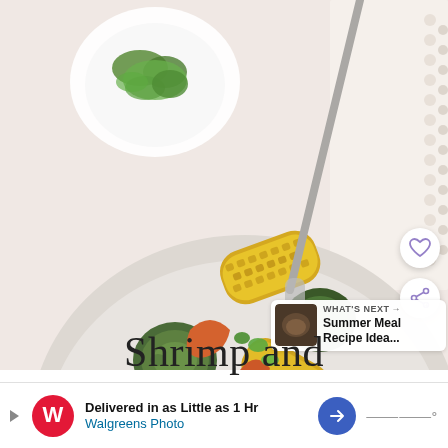[Figure (photo): Overhead shot of a bowl filled with shrimp, sausage, corn on the cob pieces, zucchini slices, and potato chunks, garnished with fresh cilantro; a small white bowl of chopped cilantro and a white beaded napkin are visible beside the main bowl on a light pink surface.]
[Figure (photo): Small thumbnail image for 'What's Next' recommendation showing a dark food dish.]
WHAT'S NEXT → Summer Meal Recipe Idea...
Shrimp and
[Figure (infographic): Walgreens Photo advertisement banner: 'Delivered in as Little as 1 Hr' with Walgreens Photo branding and navigation arrow icon.]